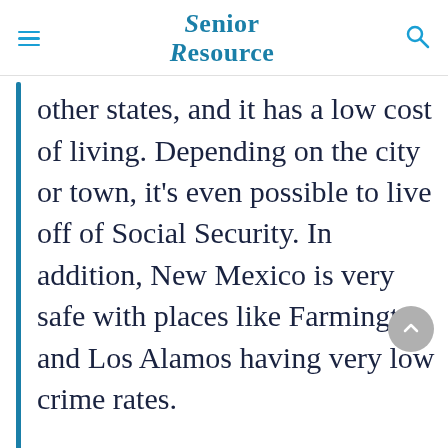Senior Resource
other states, and it has a low cost of living. Depending on the city or town, it’s even possible to live off of Social Security. In addition, New Mexico is very safe with places like Farmington and Los Alamos having very low crime rates.
Even though it has desert